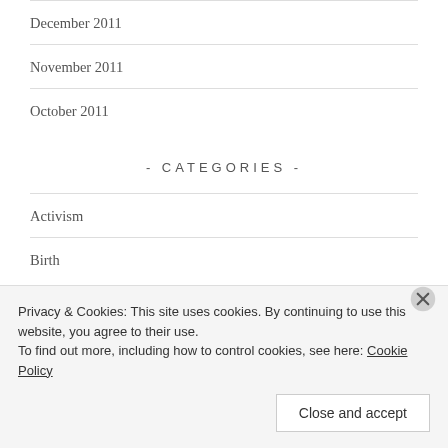December 2011
November 2011
October 2011
- CATEGORIES -
Activism
Birth
Privacy & Cookies: This site uses cookies. By continuing to use this website, you agree to their use.
To find out more, including how to control cookies, see here: Cookie Policy
Close and accept